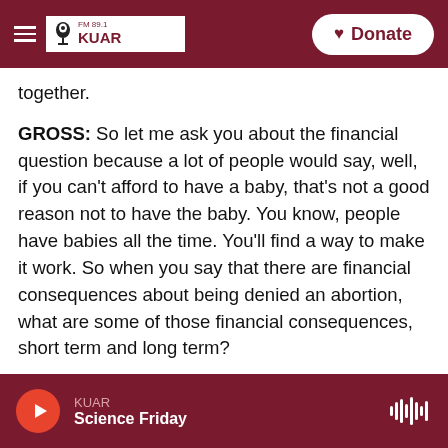FM 89.1 KUAR | npr | Donate
together.
GROSS: So let me ask you about the financial question because a lot of people would say, well, if you can't afford to have a baby, that's not a good reason not to have the baby. You know, people have babies all the time. You'll find a way to make it work. So when you say that there are financial consequences about being denied an abortion, what are some of those financial consequences, short term and long term?
FOSTER: There are immediate differences in
KUAR | Science Friday